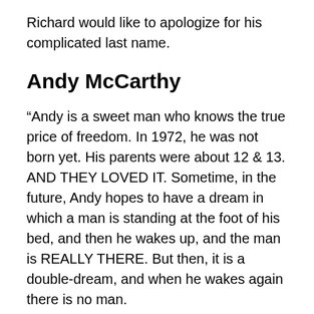Richard would like to apologize for his complicated last name.
Andy McCarthy
“Andy is a sweet man who knows the true price of freedom. In 1972, he was not born yet. His parents were about 12 & 13. AND THEY LOVED IT. Sometime, in the future, Andy hopes to have a dream in which a man is standing at the foot of his bed, and then he wakes up, and the man is REALLY THERE. But then, it is a double-dream, and when he wakes again there is no man.
In college, he studied journalism, political science, and none of those. Where philosophers left off, Andy plans to wait until new philosophers come along & make up their